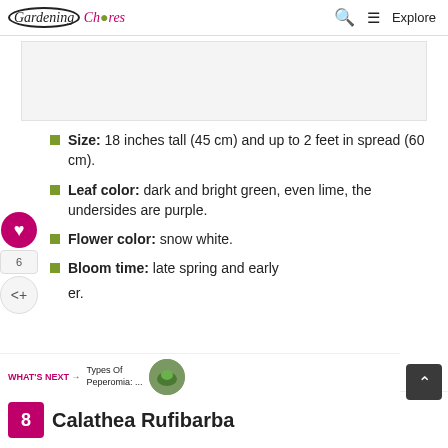Gardening Chores | Explore
[Figure (other): Advertisement placeholder banner]
Size: 18 inches tall (45 cm) and up to 2 feet in spread (60 cm).
Leaf color: dark and bright green, even lime, the undersides are purple.
Flower color: snow white.
Bloom time: late spring and early [summer].
WHAT'S NEXT → Types Of Peperomia: ...
Calathea Rufibarba